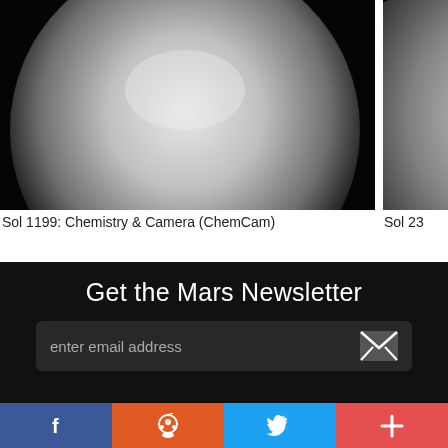[Figure (photo): Grayscale image from Mars Curiosity rover ChemCam showing a bright spherical feature against dark background, Sol 1199]
Sol 1199: Chemistry & Camera (ChemCam)
[Figure (photo): Partial grayscale Mars rover image, Sol 23, cropped on right edge]
Sol 23
Get the Mars Newsletter
enter email address
f
reddit icon
twitter bird icon
+